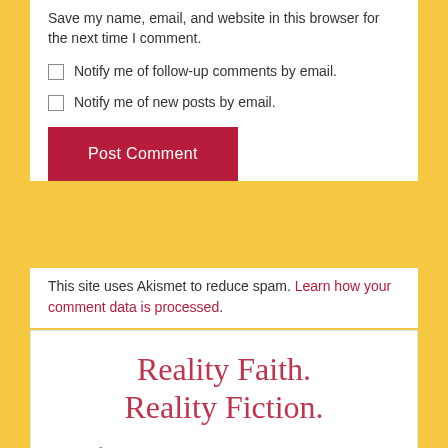Save my name, email, and website in this browser for the next time I comment.
Notify me of follow-up comments by email.
Notify me of new posts by email.
Post Comment
This site uses Akismet to reduce spam. Learn how your comment data is processed.
Reality Faith. Reality Fiction.
"As for us, we cannot help speaking about what we have seen and heard."